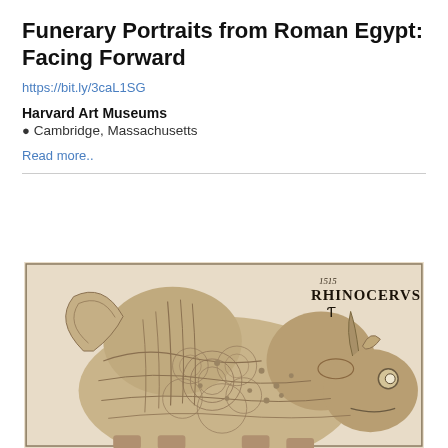Funerary Portraits from Roman Egypt: Facing Forward
https://bit.ly/3caL1SG
Harvard Art Museums
Cambridge, Massachusetts
Read more..
[Figure (illustration): A detailed black-and-white woodcut print of a rhinoceros, labeled 'RHINOCERVS' with the date 1515 in the upper right corner. The rhinoceros is depicted in armor-like plated skin with intricate texture. This is Dürer's famous Rhinoceros woodcut.]